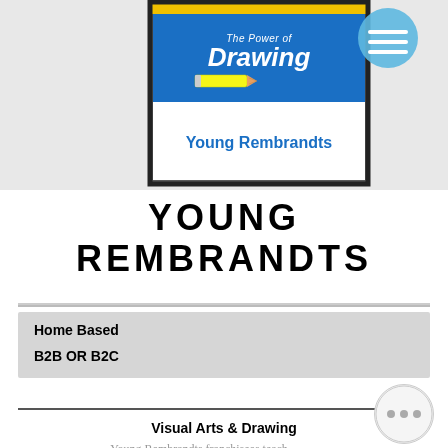[Figure (illustration): Young Rembrandts book cover showing 'The Power of Drawing' title with pencil illustration on blue background, framed with black border and yellow accent, with a blue circular icon with lines in top right corner]
YOUNG REMBRANDTS
Home Based
B2B OR B2C
Visual Arts & Drawing
Young Rembrandts franchisees teach fundamental skill of all visual arts and